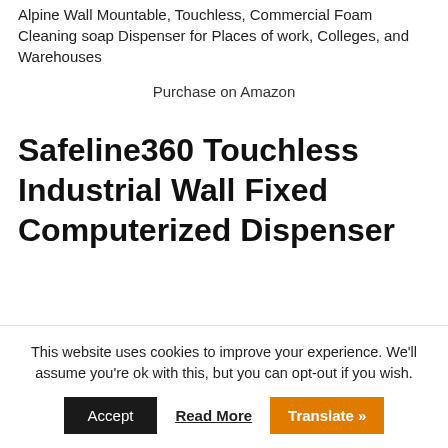…Alpine Wall Mountable, Touchless, Commercial Foam Cleaning soap Dispenser for Places of work, Colleges, and Warehouses
Purchase on Amazon
Safeline360 Touchless Industrial Wall Fixed Computerized Dispenser
This website uses cookies to improve your experience. We'll assume you're ok with this, but you can opt-out if you wish.
Accept | Read More | Translate »